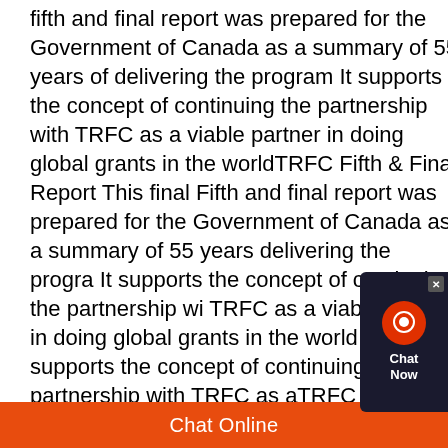fifth and final report was prepared for the Government of Canada as a summary of 55 years of delivering the program It supports the concept of continuing the partnership with TRFC as a viable partner in doing global grants in the worldTRFC Fifth & Final Report This final Fifth and final report was prepared for the Government of Canada as a summary of 55 years delivering the program. It supports the concept of continuing the partnership with TRFC as a viable partner in doing global grants in the world It supports the concept of continuing the partnership with TRFC as aTRFC Fifth & Final Report | The Rotary FoundationThe total budget is $25,483 CDN, of which the community requested only 70% from Rotary The two classrooms were completed on time and under budget The project was under budget by $2,326 CDN The community, the parent council and teachers requested the surplus funds be used to build a kitchen with 3 vented (chimney)
Chat Now
Chat Online